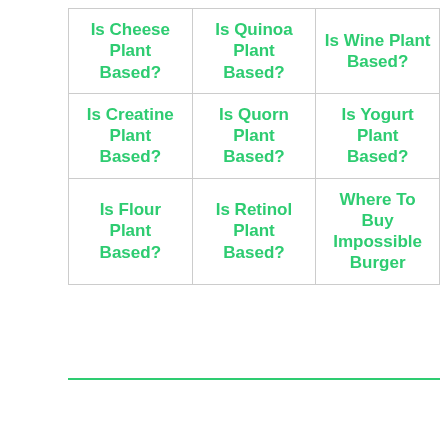| Is Cheese Plant Based? | Is Quinoa Plant Based? | Is Wine Plant Based? |
| Is Creatine Plant Based? | Is Quorn Plant Based? | Is Yogurt Plant Based? |
| Is Flour Plant Based? | Is Retinol Plant Based? | Where To Buy Impossible Burger |